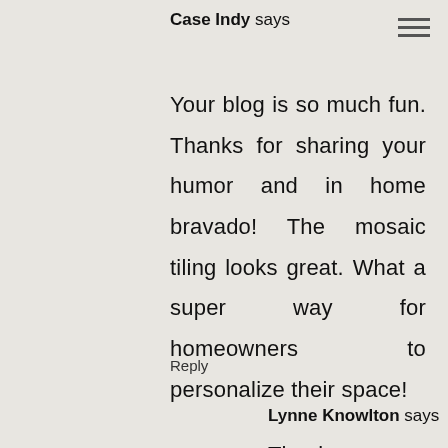Case Indy says
Your blog is so much fun. Thanks for sharing your humor and in home bravado! The mosaic tiling looks great. What a super way for homeowners to personalize their space!
Reply
Lynne Knowlton says
Thanks so much for the